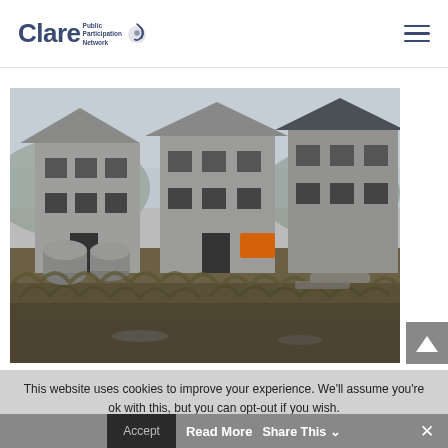Clare Public Participation Network
[Figure (photo): Unfinished housing development with multiple concrete block houses under construction in a rural/boggy landscape setting. Three two-storey houses visible with empty window frames and no roof tiles on two of them. Construction materials and debris on the ground.]
This website uses cookies to improve your experience. We'll assume you're ok with this, but you can opt-out if you wish.
Accept  Read More  Share This  ×